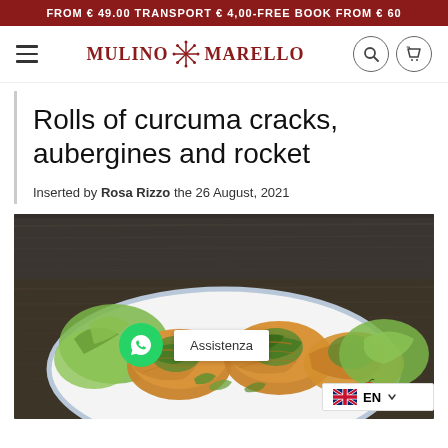FROM € 49.00 TRANSPORT € 4,00-FREE BOOK FROM € 60
[Figure (logo): Mulino Marello logo with hamburger menu, search and cart icons in site header]
Rolls of curcuma cracks, aubergines and rocket
Inserted by Rosa Rizzo the 26 August, 2021
[Figure (photo): Photo of rolls of curcuma cracks with aubergines and rocket on a white plate with salad, cherry tomatoes on a dark wooden background. Overlaid with WhatsApp button, Assistenza button, and EN language selector.]